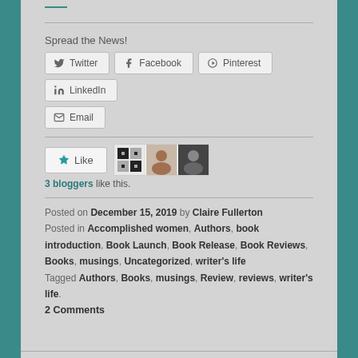Spread the News!
[Figure (screenshot): Social sharing buttons: Twitter, Facebook, Pinterest, LinkedIn, Email]
[Figure (screenshot): Like button with 3 blogger avatars]
3 bloggers like this.
Posted on December 15, 2019 by Claire Fullerton
Posted in Accomplished women, Authors, book introduction, Book Launch, Book Release, Book Reviews, Books, musings, Uncategorized, writer's life
Tagged Authors, Books, musings, Review, reviews, writer's life.
2 Comments